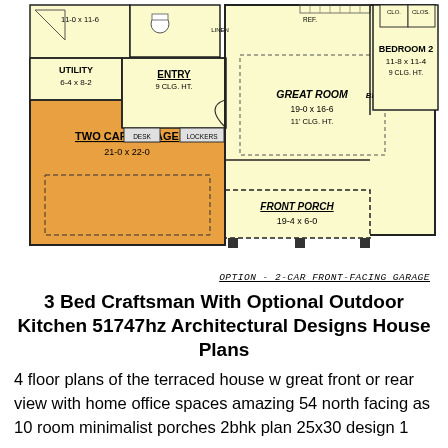[Figure (engineering-diagram): Floor plan showing Two Car Garage (21-0 x 22-0) in orange, Entry (9 CLG HT), Utility (6-4 x 8-2), Great Room (19-0 x 16-6, 11' CLG HT), Bedroom 2 (11-8 x 11-4, 9 CLG HT), Front Porch (19-4 x 6-0), closets, desk, and lockers. Option: 2-Car Front-Facing Garage layout.]
OPTION - 2-CAR FRONT-FACING GARAGE
3 Bed Craftsman With Optional Outdoor Kitchen 51747hz Architectural Designs House Plans
4 floor plans of the terraced house w great front or rear view with home office spaces amazing 54 north facing as 10 room minimalist porches 2bhk plan 25x30 design 1